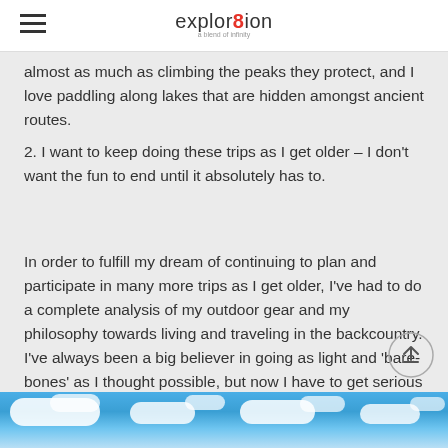explor8ion
almost as much as climbing the peaks they protect, and I love paddling along lakes that are hidden amongst ancient routes.
2. I want to keep doing these trips as I get older – I don't want the fun to end until it absolutely has to.
In order to fulfill my dream of continuing to plan and participate in many more trips as I get older, I've had to do a complete analysis of my outdoor gear and my philosophy towards living and traveling in the backcountry. I've always been a big believer in going as light and 'bare-bones' as I thought possible, but now I have to get serious about it. Really serious.
[Figure (photo): Blue sky with white clouds, bottom strip of page]